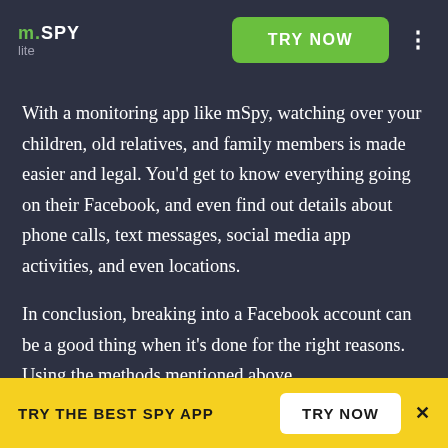mSPY lite | TRY NOW
With a monitoring app like mSpy, watching over your children, old relatives, and family members is made easier and legal. You'd get to know everything going on their Facebook, and even find out details about phone calls, text messages, social media app activities, and even locations.
In conclusion, breaking into a Facebook account can be a good thing when it's done for the right reasons. Using the methods mentioned above,
TRY THE BEST SPY APP | TRY NOW